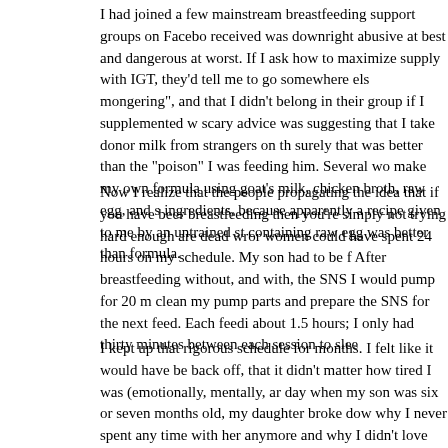I had joined a few mainstream breastfeeding support groups on Facebook, received was downright abusive at best and dangerous at worst. If I asked how to maximize supply with IGT, they'd tell me to go somewhere else for mongering", and that I didn't belong in their group if I supplemented w... scary advice was suggesting that I take donor milk from strangers on the surely that was better than the "poison" I was feeding him. Several wo... make my own formula using goat's milk, chicken broth, raw egg, and s... ingredients, because apparently a recipe given to me by an untrained st... containing raw egg was better than formula.
Now I realize that the people propagating the idea that if you have been breastfeeding then you're simply not trying hard enough are dead wrong. women could have spent 24 hours on my schedule. My son had to be f... After breastfeeding without, and with, the SNS I would pump for 20 m... clean my pump parts and prepare the SNS for the next feed. Each feedi... about 1.5 hours; I only had thirty minutes between each session to slee...
I kept up that rigorous schedule for months. I felt like it would have be... back off, that it didn't matter how tired I was (emotionally, mentally, a... day when my son was six or seven months old, my daughter broke dow... why I never spent any time with her anymore and why I didn't love he... the continuing text of the document here continues...